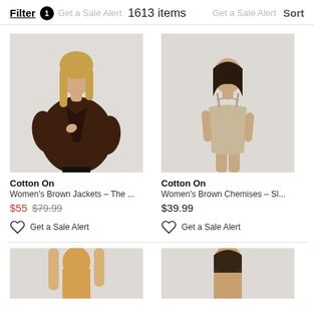Filter 1  Get a Sale Alert  1613 items  Get a Sale Alert  Sort
[Figure (photo): Woman wearing an oversized dark brown jacket, posing against a light gray background.]
Cotton On
Women's Brown Jackets – The ...
$55 $79.99
Get a Sale Alert
[Figure (photo): Woman wearing a beige/tan sleeveless mini dress, posing against a light gray background.]
Cotton On
Women's Brown Chemises – Sl...
$39.99
Get a Sale Alert
[Figure (photo): Partial view of a woman, bottom of product listing card cropped.]
[Figure (photo): Partial view of a woman with dark hair, bottom of product listing card cropped.]